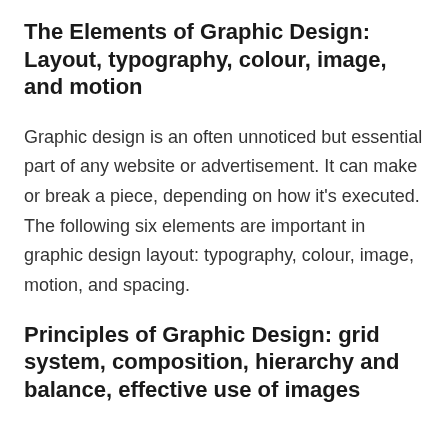The Elements of Graphic Design: Layout, typography, colour, image, and motion
Graphic design is an often unnoticed but essential part of any website or advertisement. It can make or break a piece, depending on how it's executed. The following six elements are important in graphic design layout: typography, colour, image, motion, and spacing.
Principles of Graphic Design: grid system, composition, hierarchy and balance, effective use of images